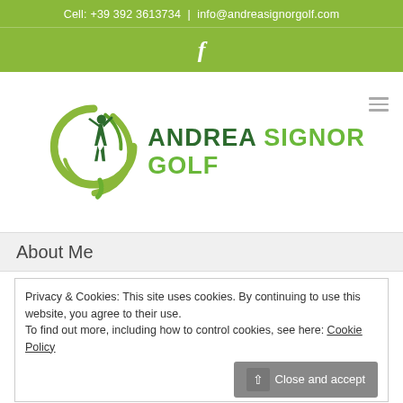Cell: +39 392 3613734 | info@andreasignorgolf.com
[Figure (logo): Facebook icon (f) on green bar]
[Figure (logo): Andrea Signor Golf logo: golfer silhouette with green circular swoosh, and brand text ANDREA SIGNOR GOLF]
About Me
Privacy & Cookies: This site uses cookies. By continuing to use this website, you agree to their use.
To find out more, including how to control cookies, see here: Cookie Policy
Close and accept